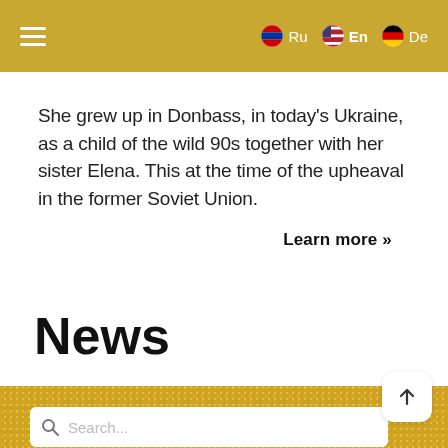≡  Ru  En  De
She grew up in Donbass, in today's Ukraine, as a child of the wild 90s together with her sister Elena. This at the time of the upheaval in the former Soviet Union.
Learn more »
News
[Figure (other): Search bar with magnifying glass icon and placeholder text 'Search...' on a gold textured background, with a scroll-to-top arrow button on the right]